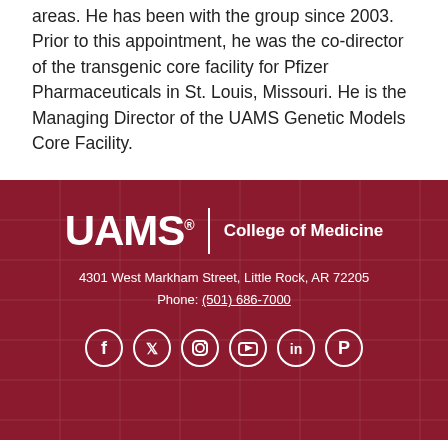areas. He has been with the group since 2003. Prior to this appointment, he was the co-director of the transgenic core facility for Pfizer Pharmaceuticals in St. Louis, Missouri. He is the Managing Director of the UAMS Genetic Models Core Facility.
[Figure (logo): UAMS College of Medicine logo with address, phone number, and social media icons on dark red background]